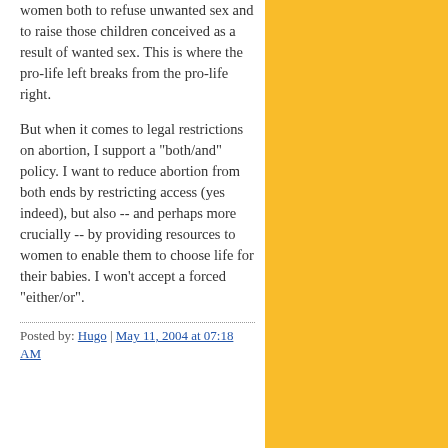women both to refuse unwanted sex and to raise those children conceived as a result of wanted sex. This is where the pro-life left breaks from the pro-life right.

But when it comes to legal restrictions on abortion, I support a "both/and" policy. I want to reduce abortion from both ends by restricting access (yes indeed), but also -- and perhaps more crucially -- by providing resources to women to enable them to choose life for their babies. I won't accept a forced "either/or".
Posted by: Hugo | May 11, 2004 at 07:18 AM